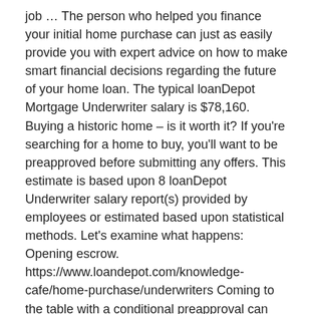job … The person who helped you finance your initial home purchase can just as easily provide you with expert advice on how to make smart financial decisions regarding the future of your home loan. The typical loanDepot Mortgage Underwriter salary is $78,160. Buying a historic home – is it worth it? If you're searching for a home to buy, you'll want to be preapproved before submitting any offers. This estimate is based upon 8 loanDepot Underwriter salary report(s) provided by employees or estimated based upon statistical methods. Let's examine what happens: Opening escrow. https://www.loandepot.com/knowledge-cafe/home-purchase/underwriters Coming to the table with a conditional preapproval can also greatly reduce the amount of time it takes to close the loan, since most of the work is already done. At this stage, your application has been fully processed and vetted by underwriting and you have met all the requirements of obtaining a home loan. Not just the operators at Loan Depot but the OWNER of Loan Depot. Applicants whose application process is